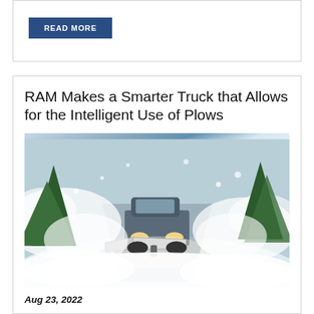READ MORE
RAM Makes a Smarter Truck that Allows for the Intelligent Use of Plows
[Figure (photo): A RAM truck with a snow plow attachment driving through heavy snow on a road surrounded by snow-covered evergreen trees, snow flying dramatically around the vehicle.]
Aug 23, 2022